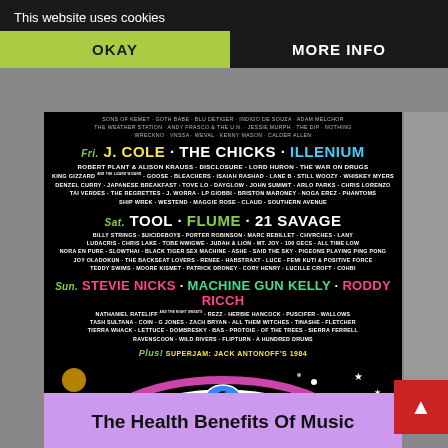This website uses cookies
OKAY
MORE INFO
[Figure (infographic): Bonnaroo Music & Arts Festival lineup poster for Friday, Saturday, Sunday. Friday headliners: J. COLE · THE CHICKS · ILLENIUM. Saturday headliners: TOOL · FLUME · 21 SAVAGE. Sunday headliners: STEVIE NICKS · MACHINE GUN KELLY · RODDY RICCH. Plus Superjam: Jack Antonoff's 1984. Sponsors: verizon, Toyota, PayPal, Bacardi, Corona, Allegiant.]
The Health Benefits Of Music